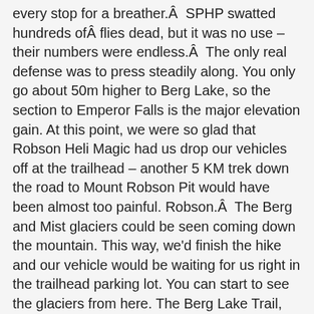every stop for a breather.Â  SPHP swatted hundreds of flies dead, but it was no use – their numbers were endless.Â  The only real defense was to press steadily along. You only go about 50m higher to Berg Lake, so the section to Emperor Falls is the major elevation gain. At this point, we were so glad that Robson Heli Magic had us drop our vehicles off at the trailhead – another 5 KM trek down the road to Mount Robson Pit would have been almost too painful. Robson.Â  The Berg and Mist glaciers could be seen coming down the mountain. This way, we'd finish the hike and our vehicle would be waiting for us right in the trailhead parking lot. You can start to see the glaciers from here. The Berg Lake Trail, Mount Robson Provincial Park, British Columbia, Canada (7-30-13). As the last sheets of ice are closing in, I wa, ♡ The pilot will give you a safety briefing. You can book either a ride up to the lake or a ride down. I stayed at rearguard for one night (5 hours up, 4 hours down) and biked the first and last 7 km to Kinney lake. The next point of interest you would see after Emperor Falls. Robson at 12,972 feet is the highest peak in the Canadian